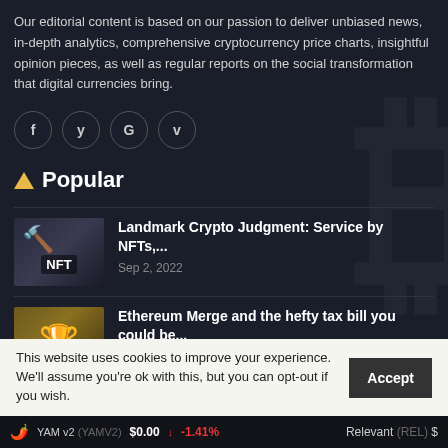Our editorial content is based on our passion to deliver unbiased news, in-depth analytics, comprehensive cryptocurrency price charts, insightful opinion pieces, as well as regular reports on the social transformation that digital currencies bring.
[Figure (other): Social media icon buttons: Facebook (f), Twitter (y), Google (G), Vimeo (v) in circular outlines]
Popular
[Figure (photo): Thumbnail showing a gavel/judge hammer with NFT label, dark background]
Landmark Crypto Judgment: Service by NFTs,...
Sep 2, 2022
[Figure (photo): Thumbnail showing a golden trophy/statue, dark golden background]
Ethereum Merge and the hefty tax bill you could be...
Sep 1, 2022
This website uses cookies to improve your experience. We'll assume you're ok with this, but you can opt-out if you wish.
YAM v2 (YAMV2) $0.00 ↓ -1.41%   Relevant (REL) $